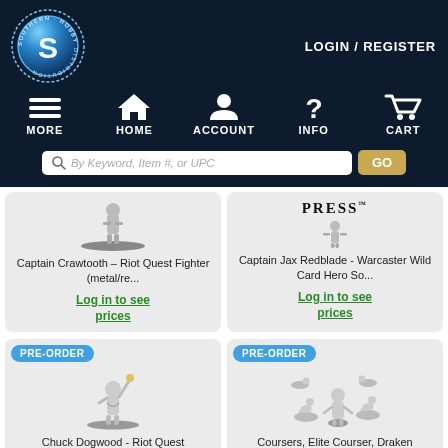[Figure (logo): Southern Hobby Distribution circular logo with blue metallic S]
LOGIN / REGISTER
[Figure (infographic): Navigation icons: MORE (hamburger), HOME (house), ACCOUNT (person), INFO (?), CART (shopping cart)]
[Figure (screenshot): Search bar with placeholder 'By Keyword, Item #, or UPC' and GO button]
Captain Crawtooth – Riot Quest Fighter (metal/re...
Log in to see prices
[Figure (photo): Privateer Press logo above Captain Jax Redblade miniature]
Captain Jax Redblade - Warcaster Wild Card Hero So...
Log in to see prices
PRE-ORDER
[Figure (photo): Chuck Dogwood miniature figurine on round base holding torch]
Chuck Dogwood - Riot Quest
PRE-ORDER
[Figure (photo): Coursers Elite Courser Draken miniature pack with multiple figures]
Coursers, Elite Courser, Draken